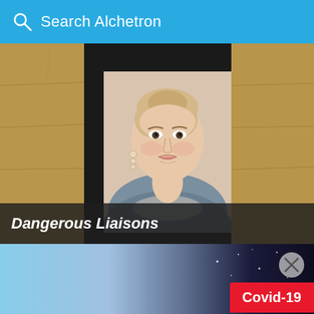Search Alchetron
[Figure (photo): Screenshot of Alchetron app showing a movie still from Dangerous Liaisons featuring a woman in period costume. The image shows a framed portrait-style photo against a stone wall background with a black frame.]
Dangerous Liaisons
[Figure (photo): Bottom portion showing a sky/space background image with a close button (X circle) and a red Covid-19 badge in the bottom right corner.]
Covid-19